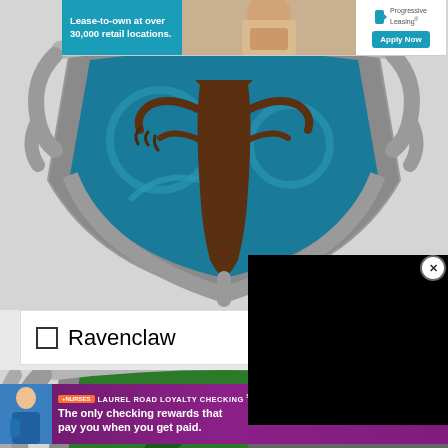[Figure (screenshot): Top advertisement banner: Progressive Leasing lease-to-own at over 30,000 retail locations with Apply Now button]
[Figure (illustration): Ravenclaw house crest/shield from Harry Potter - blue and silver shield with an eagle and decorative swirls on teal/blue background, silver ornate border]
Ravenclaw
[Figure (illustration): Slytherin house crest/shield from Harry Potter - green and silver shield with snake motif, ornate silver border]
[Figure (screenshot): Bottom advertisement banner: Laurel Road Loyalty Checking for nurses - The only checking rewards that pay you when you get paid]
[Figure (screenshot): Video overlay popup (black rectangle) with CLOSE button and X dismiss button]